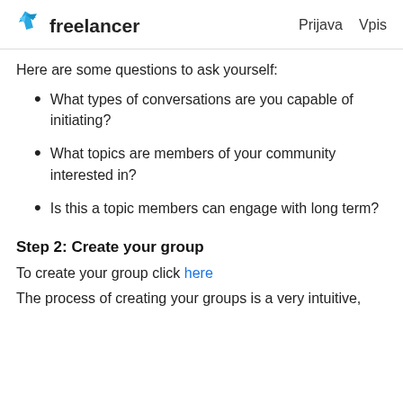Freelancer  Prijava  Vpis
Here are some questions to ask yourself:
What types of conversations are you capable of initiating?
What topics are members of your community interested in?
Is this a topic members can engage with long term?
Step 2: Create your group
To create your group click here
The process of creating your groups is a very intuitive,